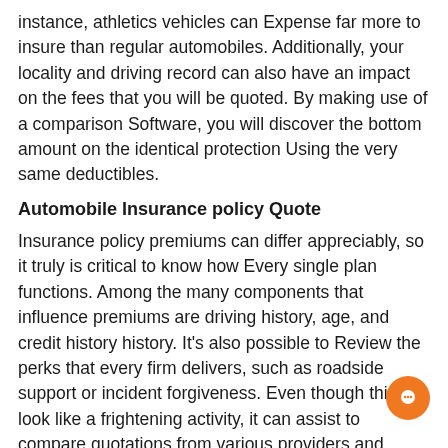instance, athletics vehicles can Expense far more to insure than regular automobiles. Additionally, your locality and driving record can also have an impact on the fees that you will be quoted. By making use of a comparison Software, you will discover the bottom amount on the identical protection Using the very same deductibles.
Automobile Insurance policy Quote
Insurance policy premiums can differ appreciably, so it truly is critical to know how Every single plan functions. Among the many components that influence premiums are driving history, age, and credit history history. It's also possible to Review the perks that every firm delivers, such as roadside support or incident forgiveness. Even though this will look like a frightening activity, it can assist to compare quotations from various providers and choose the right one particular. Listed beneath are some ideas to get you begun.
Ratings